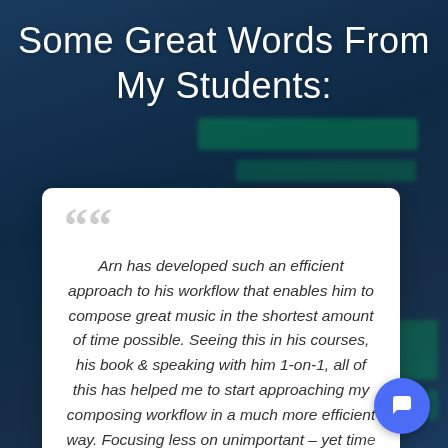Some Great Words From My Students:
Arn has developed such an efficient approach to his workflow that enables him to compose great music in the shortest amount of time possible. Seeing this in his courses, his book & speaking with him 1-on-1, all of this has helped me to start approaching my composing workflow in a much more efficient way. Focusing less on unimportant – yet time consuming tasks, and going all in on what needs to be done in order to get a piece of